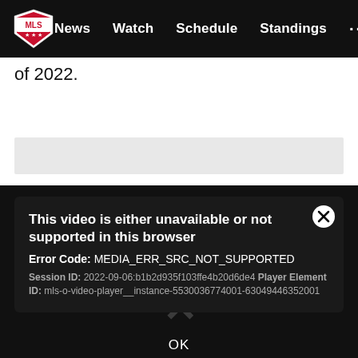[Figure (screenshot): MLS website navigation bar with logo, News, Watch, Schedule, Standings, and more menu items on black background]
of 2022.
[Figure (screenshot): Light grey horizontal bar element]
[Figure (screenshot): Video player error dialog on dark background: 'This video is either unavailable or not supported in this browser. Error Code: MEDIA_ERR_SRC_NOT_SUPPORTED. Session ID: 2022-09-06:b1b2d935f103ffe4b20d6de4 Player Element ID: mls-o-video-player__instance-5530036774001-63049446352001'. Close button (X) in top right. OK button at bottom.]